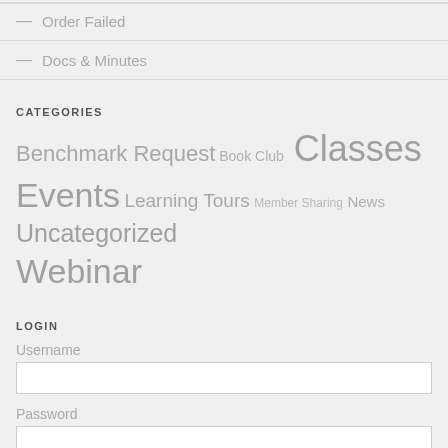— Order Failed
— Docs & Minutes
CATEGORIES
Benchmark Request Book Club Classes Events Learning Tours Member Sharing News Uncategorized Webinar
LOGIN
Username
Password